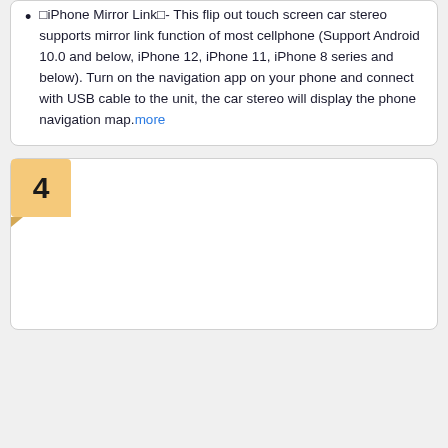iPhone Mirror Link- This flip out touch screen car stereo supports mirror link function of most cellphone (Support Android 10.0 and below, iPhone 12, iPhone 11, iPhone 8 series and below). Turn on the navigation app on your phone and connect with USB cable to the unit, the car stereo will display the phone navigation map.more
4